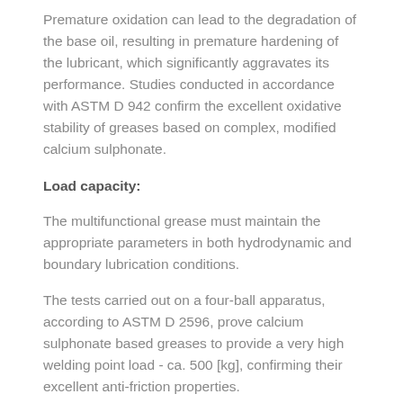Premature oxidation can lead to the degradation of the base oil, resulting in premature hardening of the lubricant, which significantly aggravates its performance. Studies conducted in accordance with ASTM D 942 confirm the excellent oxidative stability of greases based on complex, modified calcium sulphonate.
Load capacity:
The multifunctional grease must maintain the appropriate parameters in both hydrodynamic and boundary lubrication conditions.
The tests carried out on a four-ball apparatus, according to ASTM D 2596, prove calcium sulphonate based greases to provide a very high welding point load - ca. 500 [kg], confirming their excellent anti-friction properties.
Moreover, the results obtained from four-ball